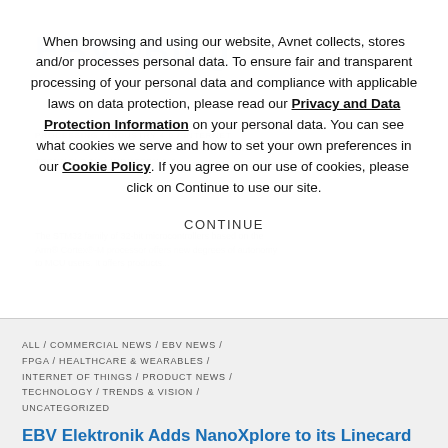When browsing and using our website, Avnet collects, stores and/or processes personal data. To ensure fair and transparent processing of your personal data and compliance with applicable laws on data protection, please read our Privacy and Data Protection Information on your personal data. You can see what cookies we serve and how to set your own preferences in our Cookie Policy. If you agree on our use of cookies, please click on Continue to use our site.
CONTINUE
ALL / COMMERCIAL NEWS / EBV NEWS / FPGA / HEALTHCARE & WEARABLES / INTERNET OF THINGS / PRODUCT NEWS / TECHNOLOGY / TRENDS & VISION / UNCATEGORIZED
EBV Elektronik Adds NanoXplore to its Linecard
Poing, Germany, 27th October 2020 – EBV Elektronik, an Avnet company (NASDAQ: AVT), and NanoXplore have signed a distribution agreement for EMEA. NanoXplore is...